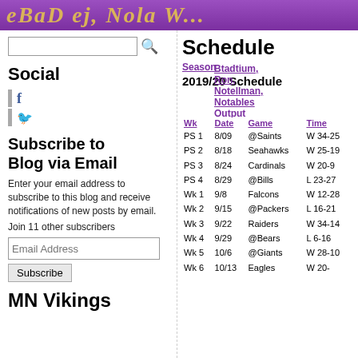eBaD ej, Nola W...
Social
Subscribe to Blog via Email
Enter your email address to subscribe to this blog and receive notifications of new posts by email. Join 11 other subscribers
MN Vikings
Schedule
2019/20 Schedule
| Wk | Date | Game | Time |
| --- | --- | --- | --- |
| PS 1 | 8/09 | @Saints | W 34-25 |
| PS 2 | 8/18 | Seahawks | W 25-19 |
| PS 3 | 8/24 | Cardinals | W 20-9 |
| PS 4 | 8/29 | @Bills | L 23-27 |
| Wk 1 | 9/8 | Falcons | W 12-28 |
| Wk 2 | 9/15 | @Packers | L 16-21 |
| Wk 3 | 9/22 | Raiders | W 34-14 |
| Wk 4 | 9/29 | @Bears | L 6-16 |
| Wk 5 | 10/6 | @Giants | W 28-10 |
| Wk 6 | 10/13 | Eagles | W 20- |